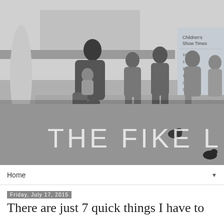[Figure (photo): Black and white photograph of a woman with several young children sitting on a ledge indoors, with pigeons on the ground. Text overlay reads 'THE FIKE LIFE' in large white letters.]
Home ▼
Friday, July 17, 2015
There are just 7 quick things I have to